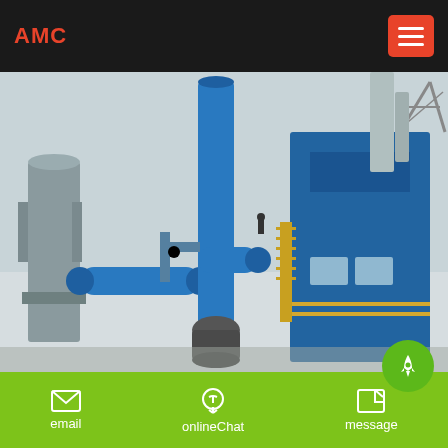AMC
[Figure (photo): Industrial plant with large blue pipelines and equipment towers including vertical conveyor/mill structure and steel scaffolding against overcast sky]
10 | +cotobaiu+
email | onlineChat | message